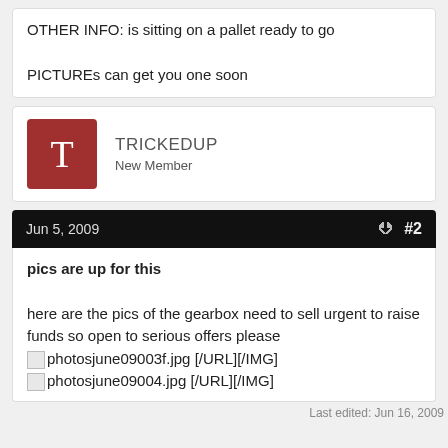OTHER INFO: is sitting on a pallet ready to go

PICTUREs can get you one soon
TRICKEDUP
New Member
Jun 5, 2009  #2
pics are up for this

here are the pics of the gearbox need to sell urgent to raise funds so open to serious offers please
photosjune09003f.jpg [/URL][/IMG]
photosjune09004.jpg [/URL][/IMG]
Last edited: Jun 16, 2009